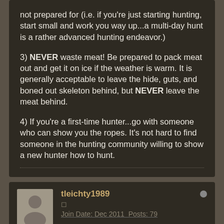not prepared for (i.e. if you're just starting hunting, start small and work you way up...a multi-day hunt is a rather advanced hunting endeavor.)
3) NEVER waste meat! Be prepared to pack meat out and get it on ice if the weather is warm. It is generally acceptable to leave the hide, guts, and boned out skeleton behind, but NEVER leave the meat behind.
4) If you're a first-time hunter...go with someone who can show you the ropes. It's not hard to find someone in the hunting community willing to show a new hunter how to hunt.
tleichty1989
Join Date: Dec 2011  Posts: 79